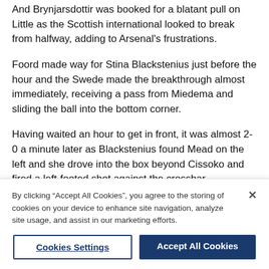And Brynjarsdottir was booked for a blatant pull on Little as the Scottish international looked to break from halfway, adding to Arsenal's frustrations.
Foord made way for Stina Blackstenius just before the hour and the Swede made the breakthrough almost immediately, receiving a pass from Miedema and sliding the ball into the bottom corner.
Having waited an hour to get in front, it was almost 2-0 a minute later as Blackstenius found Mead on the left and she drove into the box beyond Cissoko and fired a left-footed shot against the crossbar.
Then Miedema cut in from the right and sent a left
By clicking "Accept All Cookies", you agree to the storing of cookies on your device to enhance site navigation, analyze site usage, and assist in our marketing efforts.